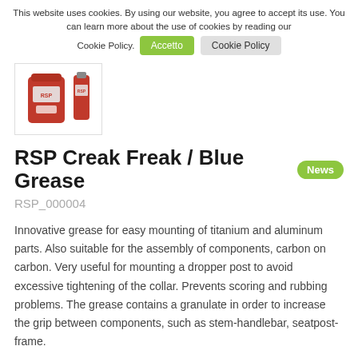This website uses cookies. By using our website, you agree to accept its use. You can learn more about the use of cookies by reading our Cookie Policy.  [Accetto]  [Cookie Policy]
[Figure (photo): Product image showing two RSP Creak Freak / Blue Grease containers: a red tin can and a red tube, displayed inside a bordered box.]
RSP Creak Freak / Blue Grease
RSP_000004
Innovative grease for easy mounting of titanium and aluminum parts. Also suitable for the assembly of components, carbon on carbon. Very useful for mounting a dropper post to avoid excessive tightening of the collar. Prevents scoring and rubbing problems. The grease contains a granulate in order to increase the grip between components, such as stem-handlebar, seatpost-frame.